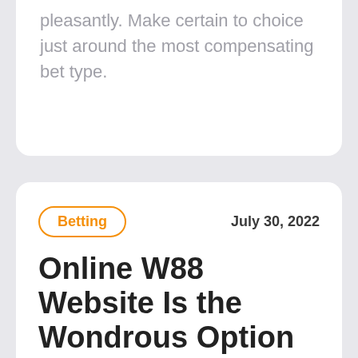pleasantly. Make certain to choice just around the most compensating bet type.
Betting
July 30, 2022
Online W88 Website Is the Wondrous Option for Betting